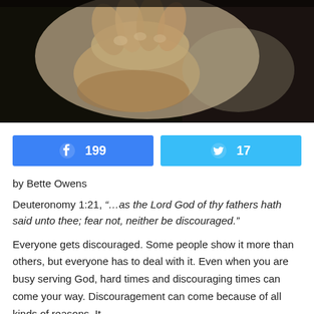[Figure (photo): Sepia-toned close-up photograph of clasped hands in prayer position]
199 (Facebook share button) | 17 (Twitter share button)
by Bette Owens
Deuteronomy 1:21, “…as the Lord God of thy fathers hath said unto thee; fear not, neither be discouraged.”
Everyone gets discouraged. Some people show it more than others, but everyone has to deal with it. Even when you are busy serving God, hard times and discouraging times can come your way. Discouragement can come because of all kinds of reasons. It